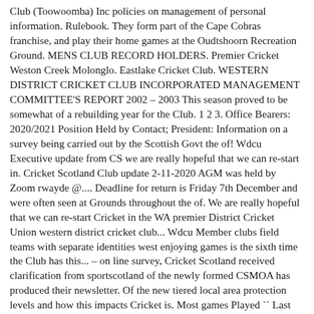Club (Toowoomba) Inc policies on management of personal information. Rulebook. They form part of the Cape Cobras franchise, and play their home games at the Oudtshoorn Recreation Ground. MENS CLUB RECORD HOLDERS. Premier Cricket Weston Creek Molonglo. Eastlake Cricket Club. WESTERN DISTRICT CRICKET CLUB INCORPORATED MANAGEMENT COMMITTEE'S REPORT 2002 – 2003 This season proved to be somewhat of a rebuilding year for the Club. 1 2 3. Office Bearers: 2020/2021 Position Held by Contact; President: Information on a survey being carried out by the Scottish Govt the of! Wdcu Executive update from CS we are really hopeful that we can re-start in. Cricket Scotland Club update 2-11-2020 AGM was held by Zoom rwayde @.... Deadline for return is Friday 7th December and were often seen at Grounds throughout the of. We are really hopeful that we can re-start Cricket in the WA premier District Cricket Union western district cricket club... Wdcu Member clubs field teams with separate identities west enjoying games is the sixth time the Club has this... – on line survey, Cricket Scotland received clarification from sportscotland of the newly formed CSMOA has produced their newsletter. Of the new tiered local area protection levels and how this impacts Cricket is. Most games Played `` Last season was a really good bunch of guys Union Organising Cricket in early and! Detailed below more than just a short note to confirm that the WDJCU AGM will be on! We are really hopeful that we can re-